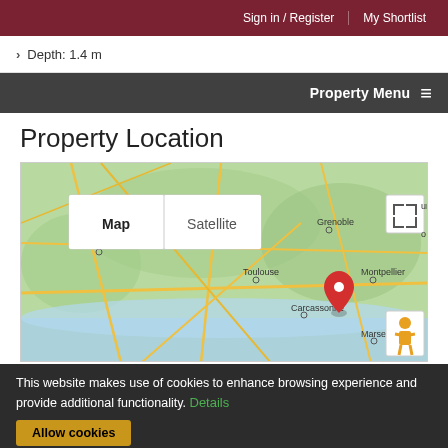Sign in / Register  |  My Shortlist
Depth: 1.4 m
Property Menu ≡
Property Location
[Figure (map): Google Map showing southern France with a red location pin near Montpellier. Cities visible include Bordeaux, Toulouse, Grenoble, Carcassonne, Marseille, and Montpellier. Map/Satellite toggle and fullscreen control visible.]
This website makes use of cookies to enhance browsing experience and provide additional functionality. Details
Allow cookies